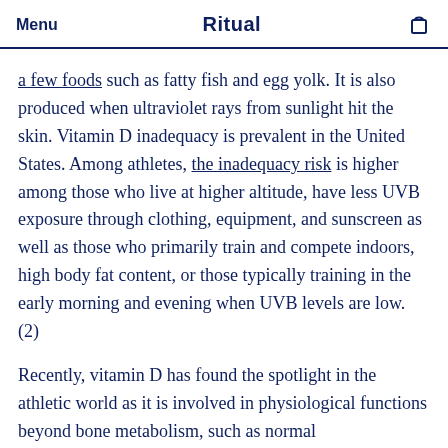Menu  Ritual
a few foods such as fatty fish and egg yolk. It is also produced when ultraviolet rays from sunlight hit the skin. Vitamin D inadequacy is prevalent in the United States. Among athletes, the inadequacy risk is higher among those who live at higher altitude, have less UVB exposure through clothing, equipment, and sunscreen as well as those who primarily train and compete indoors, high body fat content, or those typically training in the early morning and evening when UVB levels are low. (2)
Recently, vitamin D has found the spotlight in the athletic world as it is involved in physiological functions beyond bone metabolism, such as normal